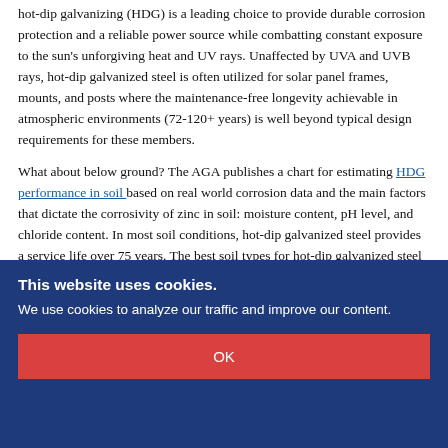hot-dip galvanizing (HDG) is a leading choice to provide durable corrosion protection and a reliable power source while combatting constant exposure to the sun's unforgiving heat and UV rays. Unaffected by UVA and UVB rays, hot-dip galvanized steel is often utilized for solar panel frames, mounts, and posts where the maintenance-free longevity achievable in atmospheric environments (72-120+ years) is well beyond typical design requirements for these members.
What about below ground? The AGA publishes a chart for estimating HDG performance in soil based on real world corrosion data and the main factors that dictate the corrosivity of zinc in soil: moisture content, pH level, and chloride content. In most soil conditions, hot-dip galvanized steel provides a service life over 75 years. The best soil types for hot-dip galvanized steel are sandy, coarse soils with low retained moisture levels, while the worst soil types for hot-dip
This website uses cookies.
We use cookies to analyze our traffic and improve our content.
OK